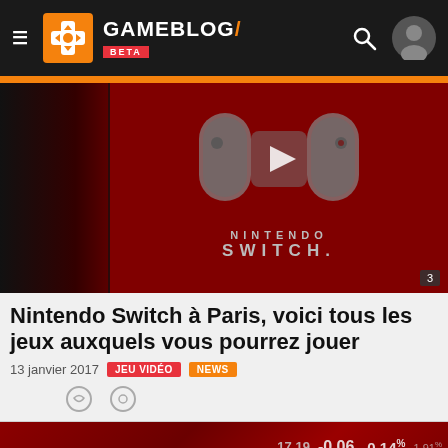GAMEBLOG/ BETA
[Figure (screenshot): Nintendo Switch logo on dark red background with play button overlay, video thumbnail]
Nintendo Switch à Paris, voici tous les jeux auxquels vous pourrez jouer
13 janvier 2017  JEU VIDÉO  NEWS
[Figure (photo): Blurred red stock market ticker board showing numbers like 17.19, -0.06, -0.14, 1.91]